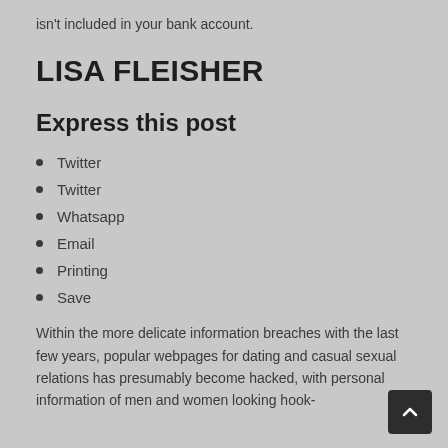isn't included in your bank account.
LISA FLEISHER
Express this post
Twitter
Twitter
Whatsapp
Email
Printing
Save
Within the more delicate information breaches with the last few years, popular webpages for dating and casual sexual relations has presumably become hacked, with personal information of men and women looking hook-